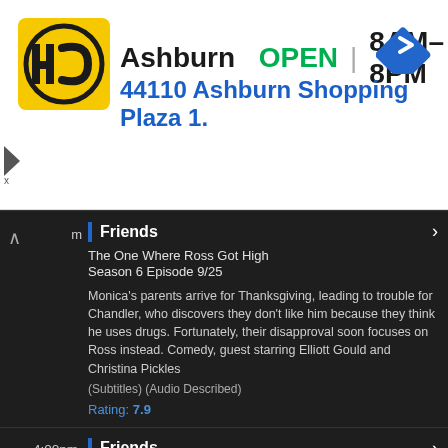[Figure (logo): HC (Home Center) logo — yellow square with black HC letters in circular design]
Ashburn   OPEN | 8AM–8PM
44110 Ashburn Shopping Plaza 1.
[Figure (other): Blue diamond navigation/directions arrow icon]
Friends
The One Where Ross Got High
Season 6 Episode 9/25
Monica's parents arrive for Thanksgiving, leading to trouble for Chandler, who discovers they don't like him because they think he uses drugs. Fortunately, their disapproval soon focuses on Ross instead. Comedy, guest starring Elliott Gould and Christina Pickles
(Subtitles) (Audio Described)
Rating: 7.9
4:00pm
Friends
The One with the Routine
Season 6 Episode 10/25
Joey tries to find the perfect opportunity to kiss Janine, while Ross and Monica resurrect their high-school dance routine for a TV programme. Comedy, guest starring Elle Macpherson
(Subtitles) (Audio Described)
Rating: 7.9